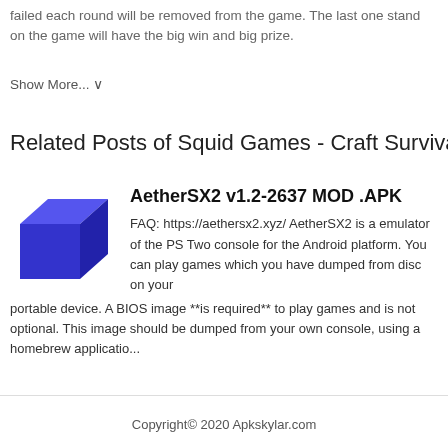failed each round will be removed from the game. The last one stand on the game will have the big win and big prize.
Show More... ∨
Related Posts of Squid Games - Craft Survival
AetherSX2 v1.2-2637 MOD .APK
FAQ: https://aethersx2.xyz/ AetherSX2 is a emulator of the PS Two console for the Android platform. You can play games which you have dumped from disc on your portable device. A BIOS image **is required** to play games and is not optional. This image should be dumped from your own console, using a homebrew applicatio...
Copyright© 2020 Apkskylar.com